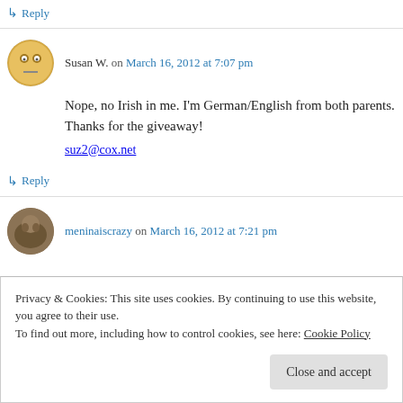↳ Reply
Susan W. on March 16, 2012 at 7:07 pm
Nope, no Irish in me. I'm German/English from both parents. Thanks for the giveaway!
suz2@cox.net
↳ Reply
meninaiscrazy on March 16, 2012 at 7:21 pm
Privacy & Cookies: This site uses cookies. By continuing to use this website, you agree to their use. To find out more, including how to control cookies, see here: Cookie Policy
Close and accept
menina.iscrazy @ yahoo.com